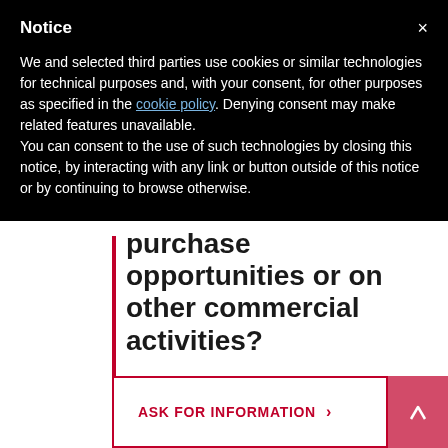Notice
We and selected third parties use cookies or similar technologies for technical purposes and, with your consent, for other purposes as specified in the cookie policy. Denying consent may make related features unavailable.
You can consent to the use of such technologies by closing this notice, by interacting with any link or button outside of this notice or by continuing to browse otherwise.
purchase opportunities or on other commercial activities?
ASK FOR INFORMATION >